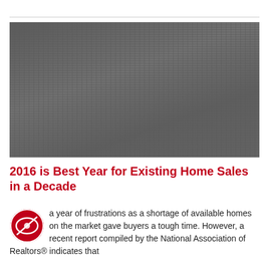[Figure (photo): Dark gray textured image, appears to be a large photo with a crosshatch pattern overlay, content not discernible due to darkness.]
2016 is Best Year for Existing Home Sales in a Decade
a year of frustrations as a shortage of available homes on the market gave buyers a tough time. However, a recent report compiled by the National Association of Realtors® indicates that